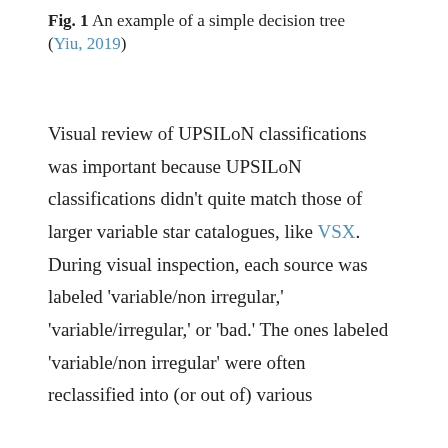Fig. 1 An example of a simple decision tree (Yiu, 2019)
Visual review of UPSILoN classifications was important because UPSILoN classifications didn't quite match those of larger variable star catalogues, like VSX.  During visual inspection, each source was labeled 'variable/non irregular,' 'variable/irregular,' or 'bad.' The ones labeled 'variable/non irregular' were often reclassified into (or out of) various